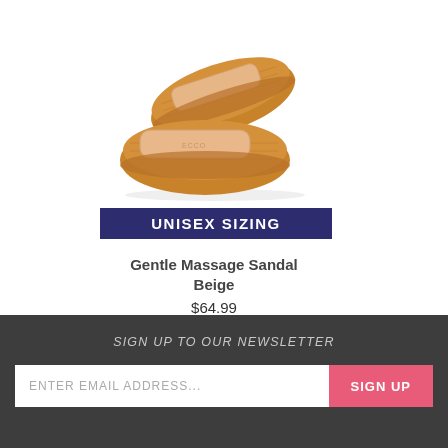[Figure (photo): Pair of beige cork-sole massage sandals/slides on white background]
UNISEX SIZING
Gentle Massage Sandal Beige
$64.99
★★★★★ (118)
SIGN UP TO OUR NEWSLETTER  ENTER EMAIL ADDRESS...  SIGN UP